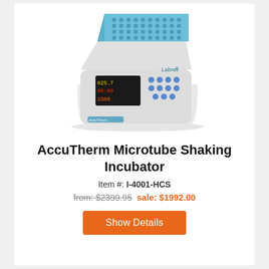[Figure (photo): AccuTherm Microtube Shaking Incubator device — white body with blue sample block on top, digital display showing 025.7, 00:00, 1500, and blue control buttons on front panel. Labnet logo on side.]
AccuTherm Microtube Shaking Incubator
Item #: I-4001-HCS
from: $2399.95  sale: $1992.00
Show Details